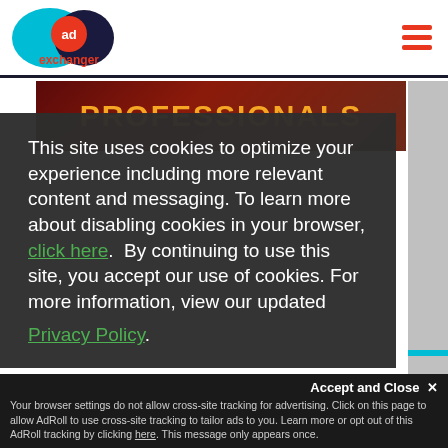AdExchanger logo and navigation
[Figure (screenshot): PROFESSIONALS banner with dark red textured background]
This site uses cookies to optimize your experience including more relevant content and messaging. To learn more about disabling cookies in your browser, click here. By continuing to use this site, you accept our use of cookies. For more information, view our updated Privacy Policy.
I Consent
Accept and Close ✕
Your browser settings do not allow cross-site tracking for advertising. Click on this page to allow AdRoll to use cross-site tracking to tailor ads to you. Learn more or opt out of this AdRoll tracking by clicking here. This message only appears once.